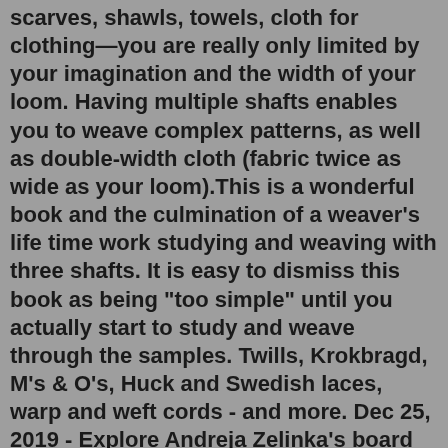scarves, shawls, towels, cloth for clothing—you are really only limited by your imagination and the width of your loom. Having multiple shafts enables you to weave complex patterns, as well as double-width cloth (fabric twice as wide as your loom).This is a wonderful book and the culmination of a weaver's life time work studying and weaving with three shafts. It is easy to dismiss this book as being "too simple" until you actually start to study and weave through the samples. Twills, Krokbragd, M's & O's, Huck and Swedish laces, warp and weft cords - and more. Dec 25, 2019 - Explore Andreja Zelinka's board "3 shafts", followed by 119 people on Pinterest. See more ideas about weaving patterns, loom weaving, weaving.This is a wonderful book and the culmination of a weaver's life time work studying and weaving with three shafts. It is easy to dismiss this book as being "too simple" until you actually start to study and weave through the samples. Twills, Krokbragd, M's & O's, Huck and Swedish laces, warp and weft cords - and more. With 2 shafts, you